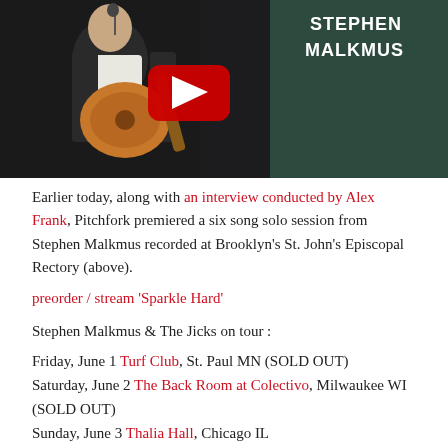[Figure (screenshot): YouTube video thumbnail showing Stephen Malkmus playing acoustic guitar in a dark setting, with the YouTube play button overlay and 'STEPHEN MALKMUS' text in the upper right corner]
Earlier today, along with an interview conducted by Alex Frank, Pitchfork premiered a six song solo session from Stephen Malkmus recorded at Brooklyn's St. John's Episcopal Rectory (above).
preorder / stream 'Sparkle Hard'
Stephen Malkmus & The Jicks on tour :
Friday, June 1 Turf Club, St. Paul MN (SOLD OUT)
Saturday, June 2 The Back Room at Colectivo, Milwaukee WI (SOLD OUT)
Sunday, June 3 Thalia Hall, Chicago IL